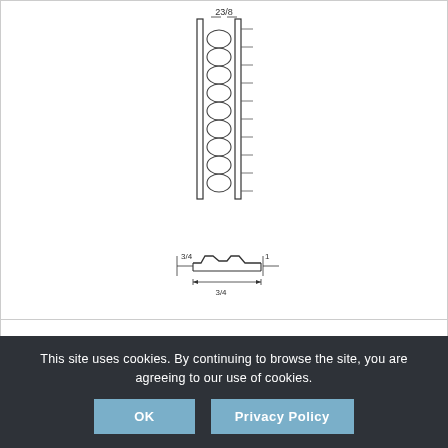[Figure (engineering-diagram): Technical engineering drawing showing two views of a structural component: a vertical cross-section view with spring/coil elements and dimension annotation '23/8', and a horizontal profile view showing a shaped trim piece with dimension annotations including '3/4', '1', and '3/4'.]
M65 S E&D 23-5/8×0-1/2
Add to PDF/DWG request
Show Details
This site uses cookies. By continuing to browse the site, you are agreeing to our use of cookies.
OK
Privacy Policy